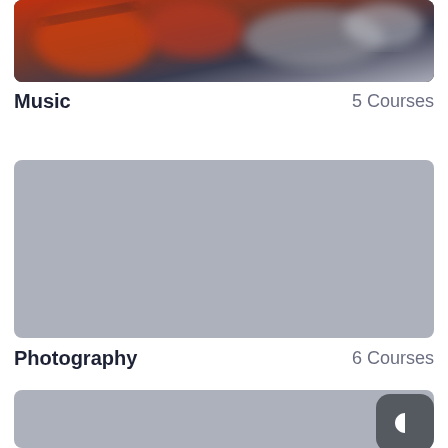[Figure (photo): Blurred close-up photo of a musical instrument (violin/guitar area) with orange and gray tones]
Music    5 Courses
[Figure (photo): Gray placeholder image for Photography category]
Photography    6 Courses
[Figure (photo): Gray placeholder image for third category, with dark mode button overlay]